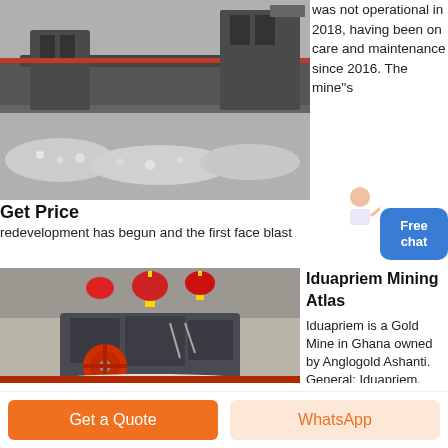[Figure (photo): Industrial mining/crushing machinery with gravel in a factory setting]
was not operational in 2018, having been on care and maintenance since 2016. The mine's redevelopment has begun and the first face blast
Get Price
[Figure (photo): Industrial crusher machine with orange wheel in a factory with red lantern decorations]
Iduapriem Mining Atlas
Iduapriem is a Gold Mine in Ghana owned by Anglogold Ashanti. General: Iduapriem, which comprises the
Get a Quote
WhatsApp